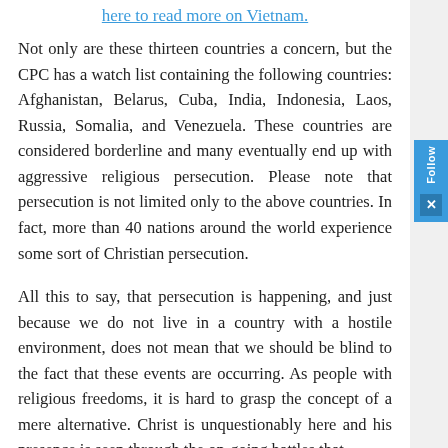here to read more on Vietnam.
Not only are these thirteen countries a concern, but the CPC has a watch list containing the following countries: Afghanistan, Belarus, Cuba, India, Indonesia, Laos, Russia, Somalia, and Venezuela. These countries are considered borderline and many eventually end up with aggressive religious persecution. Please note that persecution is not limited only to the above countries. In fact, more than 40 nations around the world experience some sort of Christian persecution.
All this to say, that persecution is happening, and just because we do not live in a country with a hostile environment, does not mean that we should be blind to the fact that these events are occurring. As people with religious freedoms, it is hard to grasp the concept of a mere alternative. Christ is unquestionably here and his presence is seen through the on-going battles that